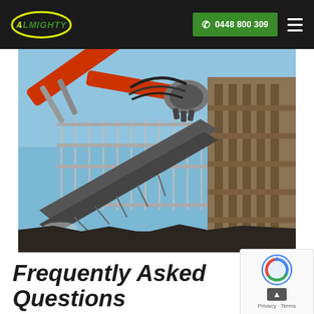Almighty — 0448 800 309
[Figure (photo): Red demolition excavator/crusher machine breaking apart a concrete structure with rebar and wooden scaffolding, against a blue sky background]
Frequently Asked Questions